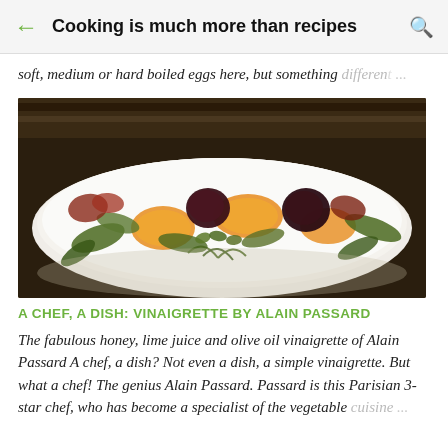Cooking is much more than recipes
soft, medium or hard boiled eggs here, but something different ...
[Figure (photo): A gourmet salad dish on a white plate featuring roasted beets, orange citrus segments, mixed greens including arugula and herbs, arranged artfully on a white elongated plate against a dark wooden background.]
A CHEF, A DISH: VINAIGRETTE BY ALAIN PASSARD
The fabulous honey, lime juice and olive oil vinaigrette of Alain Passard A chef, a dish? Not even a dish, a simple vinaigrette. But what a chef! The genius Alain Passard. Passard is this Parisian 3-star chef, who has become a specialist of the vegetable cuisine ...